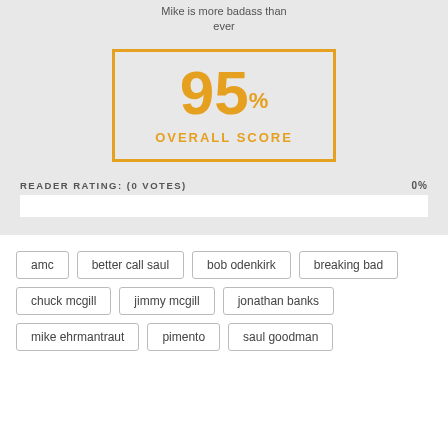Mike is more badass than ever
[Figure (infographic): Score display box with orange border showing 95% Overall Score]
READER RATING: (0 VOTES)    0%
amc
better call saul
bob odenkirk
breaking bad
chuck mcgill
jimmy mcgill
jonathan banks
mike ehrmantraut
pimento
saul goodman